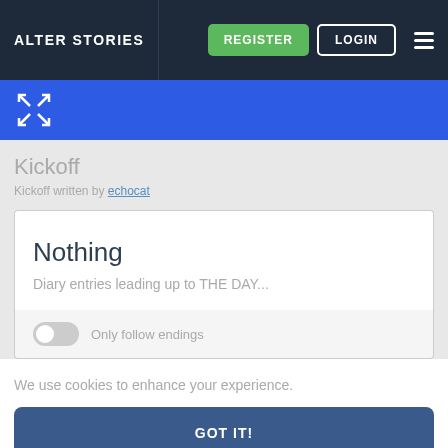ALTER STORIES
[Figure (screenshot): Expand/fullscreen icon in white arrows on blue toolbar]
Kickoff
Kickoff written by echocat
Nothing
Diary entries leading up to THE DAY...
Only follow endings
We use cookies to enhance your experience.
GOT IT!